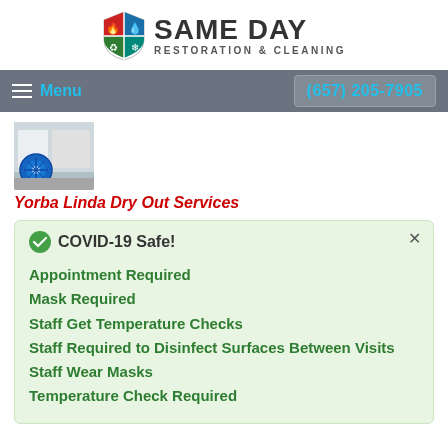[Figure (logo): Same Day Restoration & Cleaning logo with shield icon and company name]
Menu | (657) 205-7905
[Figure (photo): Thumbnail photo of air mover/fan equipment in a room for drying services]
Yorba Linda Dry Out Services
COVID-19 Safe!
Appointment Required
Mask Required
Staff Get Temperature Checks
Staff Required to Disinfect Surfaces Between Visits
Staff Wear Masks
Temperature Check Required